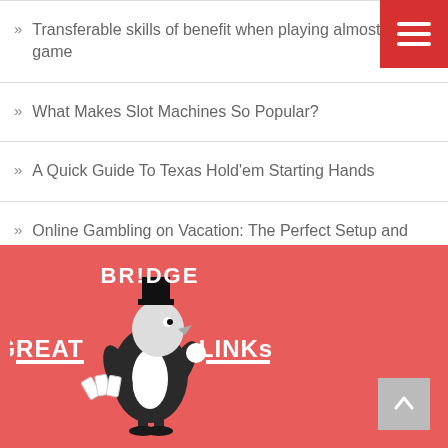Transferable skills of benefit when playing almost any game
What Makes Slot Machines So Popular?
A Quick Guide To Texas Hold'em Starting Hands
Online Gambling on Vacation: The Perfect Setup and Tips for Success
[Figure (logo): Bridge Great Links logo — white cartoon magpie/jackdaw character in a tuxedo holding playing cards, with stylized white text reading GREAT BRIDGE LINKS, on a coral/red background]